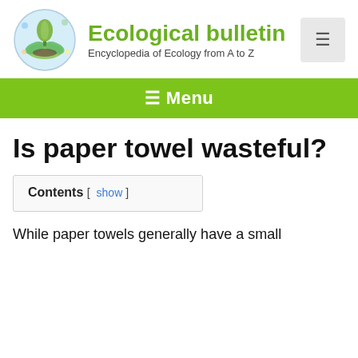Ecological bulletin — Encyclopedia of Ecology from A to Z
≡ Menu
Is paper towel wasteful?
Contents [ show ]
While paper towels generally have a small